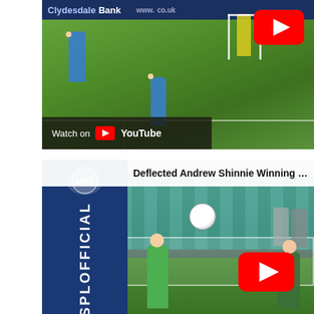[Figure (screenshot): YouTube video thumbnail of a football/soccer match on a green pitch. Players in blue and yellow kits visible. Clydesdale Bank advertisement board in background. Red YouTube play button overlay top right. 'Watch on YouTube' bar at bottom left.]
[Figure (screenshot): SPFL official YouTube video thumbnail showing 'Deflected Andrew Shinnie Winning Goal,' — SPFL logo with blue vertical banner on left, goalkeeper in green kit, red YouTube play button overlay, teal stadium seats in background.]